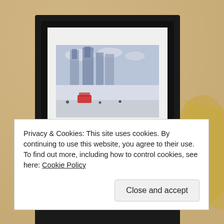[Figure (photo): A framed picture on a beige/tan wall. The black frame contains a white mat with two watercolor prints of London landmarks. The top print shows Westminster Abbey with a street scene, and the bottom print shows the Palace of Westminster / Big Ben in golden tones. A lamp shade is partially visible at the right edge.]
Privacy & Cookies: This site uses cookies. By continuing to use this website, you agree to their use.
To find out more, including how to control cookies, see here: Cookie Policy
Close and accept